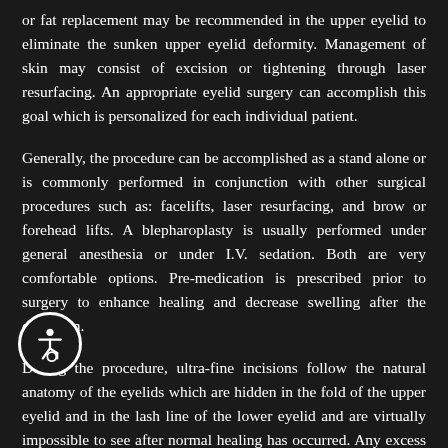or fat replacement may be recommended in the upper eyelid to eliminate the sunken upper eyelid deformity. Management of skin may consist of excision or tightening through laser resurfacing. An appropriate eyelid surgery can accomplish this goal which is personalized for each individual patient.
Generally, the procedure can be accomplished as a stand alone or is commonly performed in conjunction with other surgical procedures such as: facelifts, laser resurfacing, and brow or forehead lifts. A blepharoplasty is usually performed under general anesthesia or under I.V. sedation. Both are very comfortable options. Pre-medication is prescribed prior to surgery to enhance healing and decrease swelling after the operation.
During the procedure, ultra-fine incisions follow the natural anatomy of the eyelids which are hidden in the fold of the upper eyelid and in the lash line of the lower eyelid and are virtually impossible to see after normal healing has occurred. Any excess fat and/or skin is removed and a meticulous